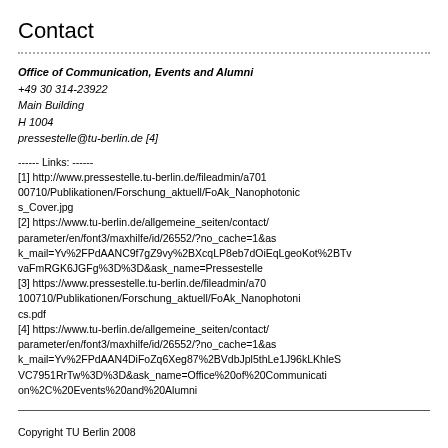Contact
Office of Communication, Events and Alumni
+49 30 314-23922
Main Building
H 1004
pressestelle@tu-berlin.de [4]
------ Links: ------
[1] http://www.pressestelle.tu-berlin.de/fileadmin/a70100710/Publikationen/Forschung_aktuell/FoAk_Nanophotonics_Cover.jpg
[2] https://www.tu-berlin.de/allgemeine_seiten/contact/parameter/en/font3/maxhilfe/id/26552/?no_cache=1&ask_mail=Yv%2FPdAANC9f7gZ9vy%2BXcqLP8eb7dOiEqLgeoKot%2BTvvaFmRGK6JGFg%3D%3D&ask_name=Pressestelle
[3] https://www.pressestelle.tu-berlin.de/fileadmin/a70100710/Publikationen/Forschung_aktuell/FoAk_Nanophotonics.pdf
[4] https://www.tu-berlin.de/allgemeine_seiten/contact/parameter/en/font3/maxhilfe/id/26552/?no_cache=1&ask_mail=Yv%2FPdAAN4DiFoZq6Xeg87%2BVdbJpl5thLe1J96kLKhleS VC7951RrTw%3D%3D&ask_name=Office%20of%20Communication%2C%20Events%20and%20Alumni
Copyright TU Berlin 2008